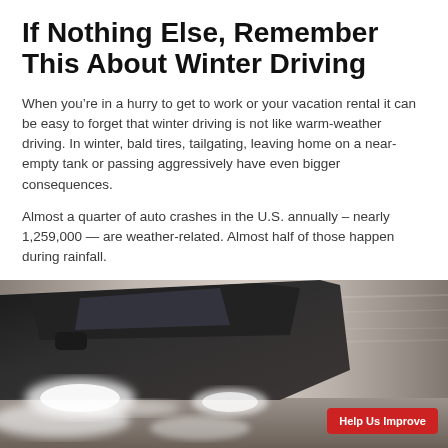If Nothing Else, Remember This About Winter Driving
When you’re in a hurry to get to work or your vacation rental it can be easy to forget that winter driving is not like warm-weather driving. In winter, bald tires, tailgating, leaving home on a near-empty tank or passing aggressively have even bigger consequences.
Almost a quarter of auto crashes in the U.S. annually – nearly 1,259,000 — are weather-related. Almost half of those happen during rainfall.
[Figure (photo): Motion-blurred photo of a dark vehicle driving fast, with white spray visible around the wheels, suggesting wet or snowy road conditions. A red 'Help Us Improve' button is overlaid in the bottom-right corner.]